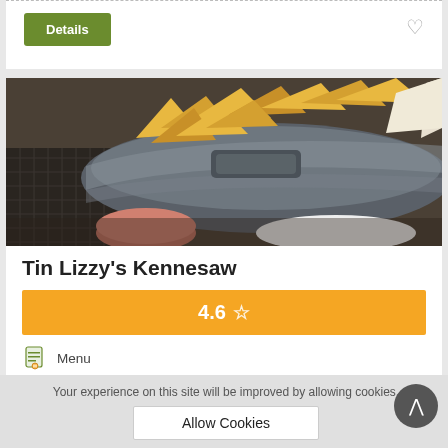Details
[Figure (photo): Close-up photo of a metal basket/tray filled with tortilla chips and a dipping sauce, with a black wire rack underneath]
Tin Lizzy's Kennesaw
4.6 ☆
Menu
Online table booking
Your experience on this site will be improved by allowing cookies.
Allow Cookies